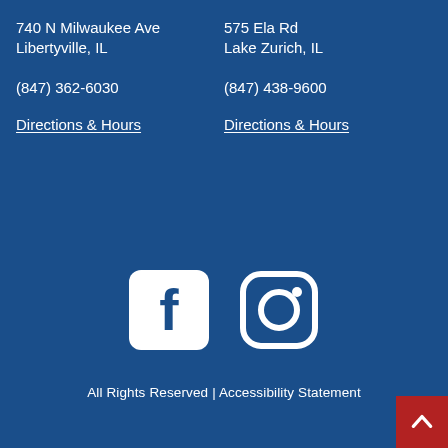740 N Milwaukee Ave
Libertyville, IL
575 Ela Rd
Lake Zurich, IL
(847) 362-6030
(847) 438-9600
Directions & Hours
Directions & Hours
[Figure (logo): Facebook logo icon (white F on rounded square) and Instagram logo icon (camera outline circle), white on blue background]
All Rights Reserved | Accessibility Statement